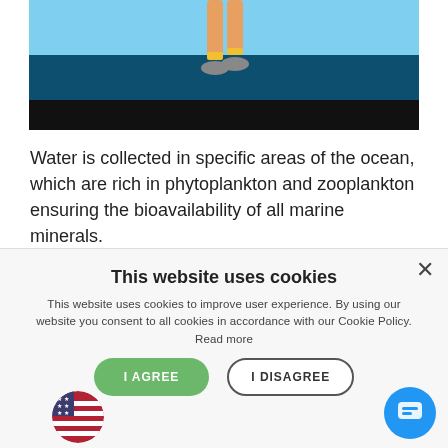[Figure (illustration): Illustrated scene showing ocean water with a light blue sky, dark teal water surface, and black seafloor area. A cartoon figure's legs (with orange/gold ankle detail and gray shoe) are visible at top center, partially cut off.]
Water is collected in specific areas of the ocean, which are rich in phytoplankton and zooplankton ensuring the bioavailability of all marine minerals.
This website uses cookies
This website uses cookies to improve user experience. By using our website you consent to all cookies in accordance with our Cookie Policy. Read more